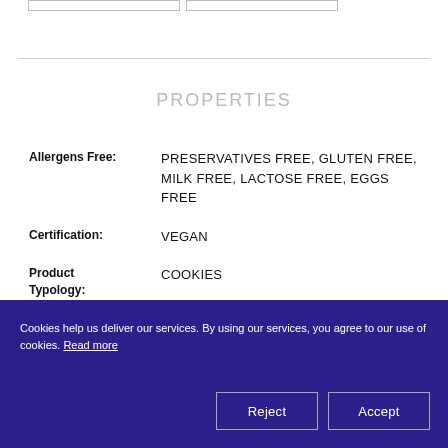PROPERTIES
| Property | Value |
| --- | --- |
| Allergens Free: | PRESERVATIVES FREE, GLUTEN FREE, MILK FREE, LACTOSE FREE, EGGS FREE |
| Certification: | VEGAN |
| Product Typology: | COOKIES |
Cookies help us deliver our services. By using our services, you agree to our use of cookies. Read more
Reject
Accept